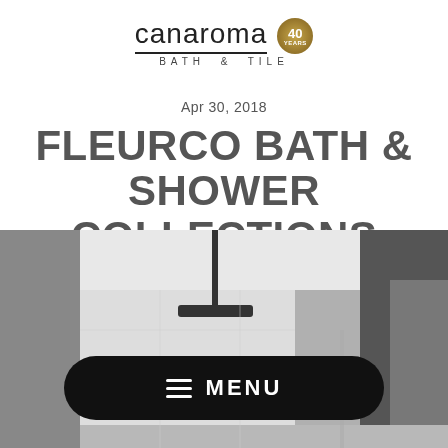[Figure (logo): Canaroma Bath & Tile logo with 40 Years anniversary badge]
Apr 30, 2018
FLEURCO BATH & SHOWER COLLECTIONS
[Figure (photo): Modern shower room interior with ceiling-mounted rain showerhead, grey and white walls, glass panels]
MENU